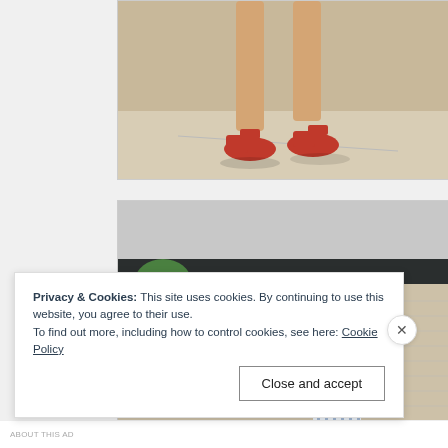[Figure (photo): Close-up photo of a person's legs wearing red mule sandals, standing on a sidewalk in front of a concrete block wall]
[Figure (photo): Photo of a woman with sunglasses wearing a blue and white striped top, standing in front of a mid-century modern building with a flat roof overhang and concrete brick wall]
Privacy & Cookies: This site uses cookies. By continuing to use this website, you agree to their use.
To find out more, including how to control cookies, see here: Cookie Policy
Close and accept